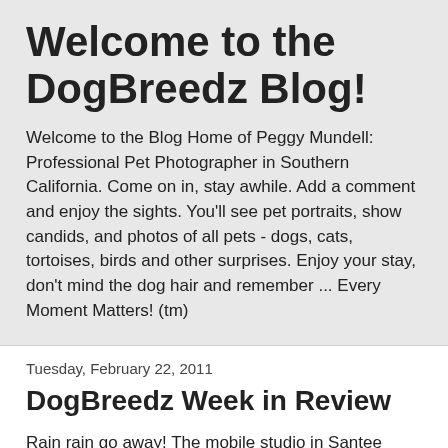Welcome to the DogBreedz Blog!
Welcome to the Blog Home of Peggy Mundell: Professional Pet Photographer in Southern California. Come on in, stay awhile. Add a comment and enjoy the sights. You'll see pet portraits, show candids, and photos of all pets - dogs, cats, tortoises, birds and other surprises. Enjoy your stay, don't mind the dog hair and remember ... Every Moment Matters! (tm)
Tuesday, February 22, 2011
DogBreedz Week in Review
Rain rain go away! The mobile studio in Santee can't set up in the rain, so this last week I've been busy following up on client inquiries and getting my creative juices flowing with two new card designs for St. Patrick's Day. The greeting cards will be continuous at the DogBreedz Greeting Cards...